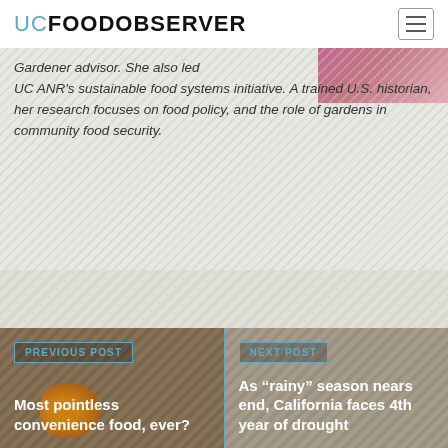UC FOOD OBSERVER
Gardener advisor. She also led UC ANR’s sustainable food systems initiative. A trained U.S. historian, her research focuses on food policy, and the role of gardens in community food security.
PREVIOUS POST
Most pointless convenience food, ever?
NEXT POST
As “rainy” season nears end, California faces 4th year of drought